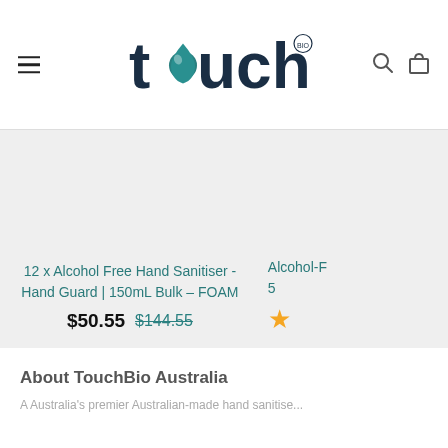[Figure (logo): TouchBio logo with teal water drop replacing the 'o' in touch, and 'BIO' superscript in a circle]
12 x Alcohol Free Hand Sanitiser - Hand Guard | 150mL Bulk – FOAM
$50.55  $144.55
Alcohol-F... 5...
About TouchBio Australia
About TouchBio Australia body text (partially visible)